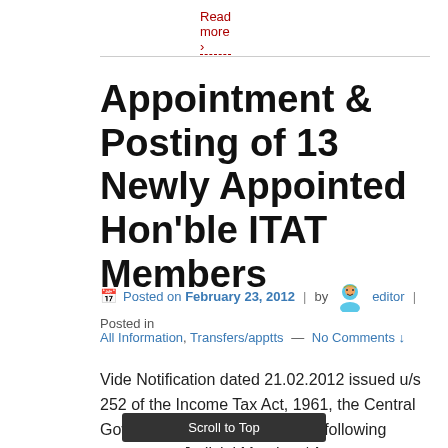Read more ›
Appointment & Posting of 13 Newly Appointed Hon'ble ITAT Members
Posted on February 23, 2012 | by editor | Posted in
All Information, Transfers/apptts — No Comments ↓
Vide Notification dated 21.02.2012 issued u/s 252 of the Income Tax Act, 1961, the Central Government has appointed the following persons as Judicial Member / Accountant Member of the Income Tax Appellate Tribunal